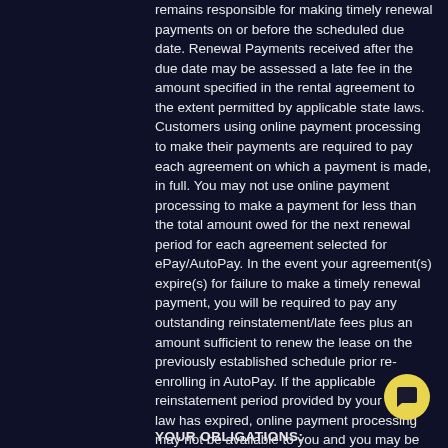remains responsible for making timely renewal payments on or before the scheduled due date. Renewal Payments received after the due date may be assessed a late fee in the amount specified in the rental agreement to the extent permitted by applicable state laws. Customers using online payment processing to make their payments are required to pay each agreement on which a payment is made, in full. You may not use online payment processing to make a payment for less than the total amount owed for the next renewal period for each agreement selected for ePay/AutoPay. In the event your agreement(s) expire(s) for failure to make a timely renewal payment, you will be required to pay any outstanding reinstatement/late fees plus an amount sufficient to renew the lease on the previously established schedule prior re-enrolling in AutoPay. If the applicable reinstatement period provided by your state law has expired, online payment processing may not be available to you and you may be required to contact the store to process a payment.
YOUR OBLIGATIONS: